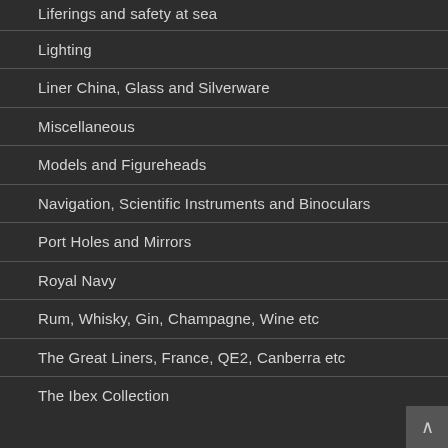Liferings and safety at sea
Lighting
Liner China, Glass and Silverware
Miscellaneous
Models and Figureheads
Navigation, Scientific Instruments and Binoculars
Port Holes and Mirrors
Royal Navy
Rum, Whisky, Gin, Champagne, Wine etc
The Great Liners, France, QE2, Canberra etc
The Ibex Collection